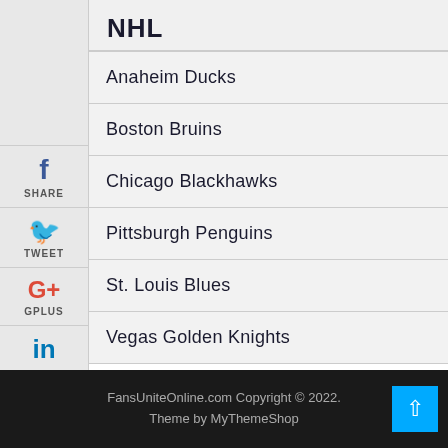NHL
Anaheim Ducks
Boston Bruins
Chicago Blackhawks
Pittsburgh Penguins
St. Louis Blues
Vegas Golden Knights
FansUniteOnline.com Copyright © 2022.
Theme by MyThemeShop